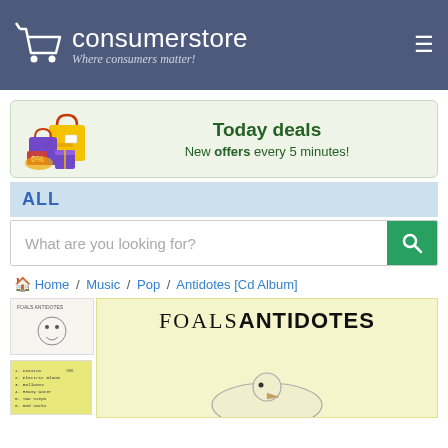consumerstore - Where consumers matter!
[Figure (infographic): Today deals banner with shopping bags illustration. Text: 'Today deals' and 'New offers every 5 minutes!']
ALL
What are you looking for?
Home / Music / Pop / Antidotes [Cd Album]
[Figure (photo): Foals Antidotes CD album cover - large main image showing 'FOALSANTIDOTES' text on yellow background with a bird illustration. Two small thumbnails on the left.]